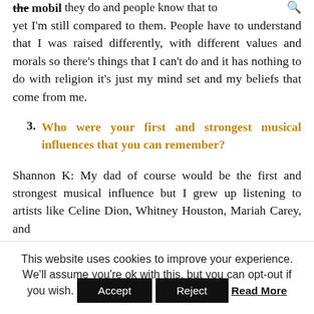the mobil they do and people know that to
yet I'm still compared to them. People have to understand that I was raised differently, with different values and morals so there's things that I can't do and it has nothing to do with religion it's just my mind set and my beliefs that come from me.
3. Who were your first and strongest musical influences that you can remember?
Shannon K: My dad of course would be the first and strongest musical influence but I grew up listening to artists like Celine Dion, Whitney Houston, Mariah Carey, and
This website uses cookies to improve your experience. We'll assume you're ok with this, but you can opt-out if you wish. Accept Reject Read More